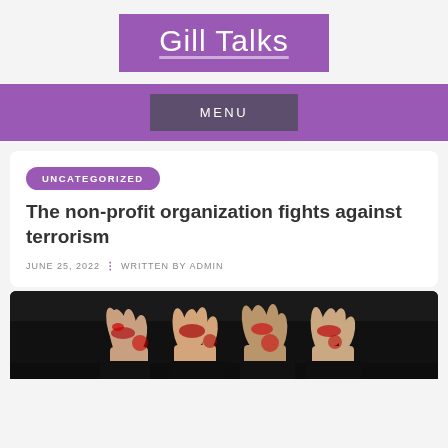Gill Talks
MENU
UNCATEGORIZED
The non-profit organization fights against terrorism
JUNE 25, 2022  ⁝  WRITTEN BY ADMIN
[Figure (photo): Hands with red paint/flowers gathered together, group of people in dark clothing]